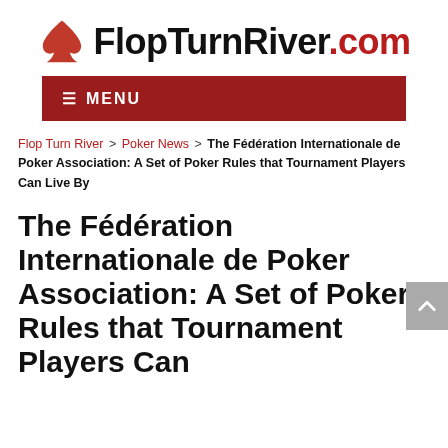[Figure (logo): FlopTurnRiver.com logo with red spade suit icon on the left and bold text 'FlopTurnRiver.com' where '.com' is in red]
☰ MENU
Flop Turn River > Poker News > The Fédération Internationale de Poker Association: A Set of Poker Rules that Tournament Players Can Live By
The Fédération Internationale de Poker Association: A Set of Poker Rules that Tournament Players Can